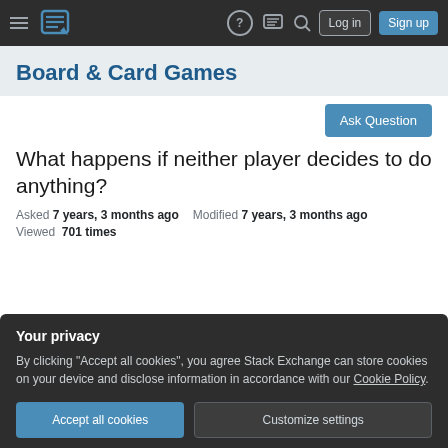Board & Card Games — Stack Exchange navigation bar with Log in and Sign up buttons
Board & Card Games
Ask Question
What happens if neither player decides to do anything?
Asked 7 years, 3 months ago   Modified 7 years, 3 months ago
Viewed  701 times
Your privacy
By clicking "Accept all cookies", you agree Stack Exchange can store cookies on your device and disclose information in accordance with our Cookie Policy.
Accept all cookies   Customize settings